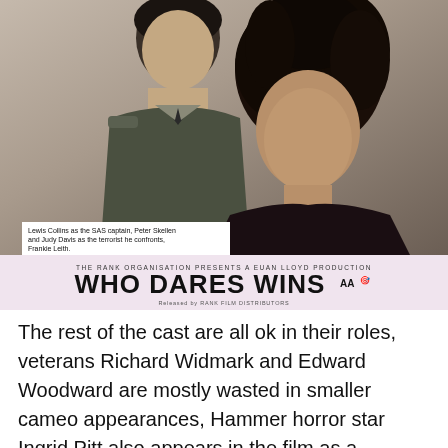[Figure (photo): Movie poster for 'Who Dares Wins' showing Lewis Collins as the SAS captain Peter Skellen and Judy Davis as the terrorist he confronts, Frankie Leith. A Euan Lloyd Production. Released by Rank Film Distributors.]
Lewis Collins as the SAS captain, Peter Skellen and Judy Davis as the terrorist he confronts, Frankie Leith.
The rest of the cast are all ok in their roles, veterans Richard Widmark and Edward Woodward are mostly wasted in smaller cameo appearances, Hammer horror star Ingrid Pitt also appears in the film as a fanatical